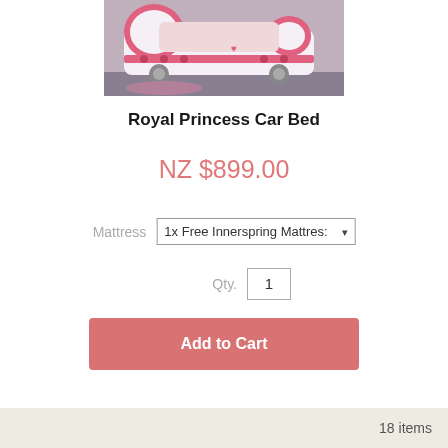[Figure (photo): Photo of a pink and white Royal Princess Car Bed with heart and polka dot decorations in a bedroom setting]
Royal Princess Car Bed
NZ $899.00
Mattress  1x Free Innerspring Mattress
Qty.  1
Add to Cart
18 items